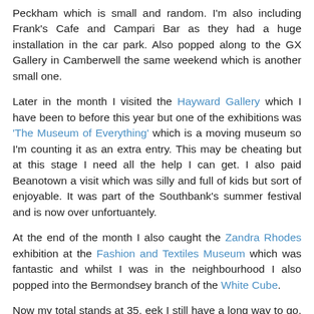Peckham which is small and random. I'm also including Frank's Cafe and Campari Bar as they had a huge installation in the car park. Also popped along to the GX Gallery in Camberwell the same weekend which is another small one.
Later in the month I visited the Hayward Gallery which I have been to before this year but one of the exhibitions was 'The Museum of Everything' which is a moving museum so I'm counting it as an extra entry. This may be cheating but at this stage I need all the help I can get. I also paid Beanotown a visit which was silly and full of kids but sort of enjoyable. It was part of the Southbank's summer festival and is now over unfortuantely.
At the end of the month I also caught the Zandra Rhodes exhibition at the Fashion and Textiles Museum which was fantastic and whilst I was in the neighbourhood I also popped into the Bermondsey branch of the White Cube.
Now my total stands at 35, eek I still have a long way to go. Can't believe I'm not even half way yet!